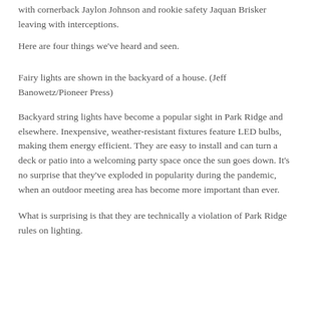with cornerback Jaylon Johnson and rookie safety Jaquan Brisker leaving with interceptions.
Here are four things we've heard and seen.
Fairy lights are shown in the backyard of a house. (Jeff Banowetz/Pioneer Press)
Backyard string lights have become a popular sight in Park Ridge and elsewhere. Inexpensive, weather-resistant fixtures feature LED bulbs, making them energy efficient. They are easy to install and can turn a deck or patio into a welcoming party space once the sun goes down. It's no surprise that they've exploded in popularity during the pandemic, when an outdoor meeting area has become more important than ever.
What is surprising is that they are technically a violation of Park Ridge rules on lighting.